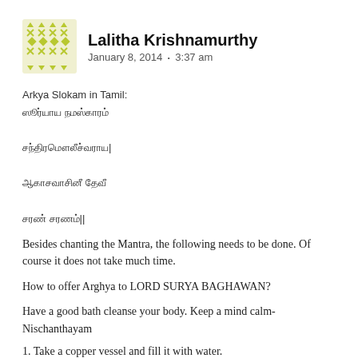Lalitha Krishnamurthy — January 8, 2014 • 3:37 am
Arkya Slokam in Tamil:
[Tamil script lines]
Besides chanting the Mantra, the following needs to be done. Of course it does not take much time.
How to offer Arghya to LORD SURYA BAGHAWAN?
Have a good bath cleanse your body. Keep a mind calm- Nischanthayam
1. Take a copper vessel and fill it with water.
2. Stand facing the Sun. If it is cloudy you can still do the offering by facing the east.